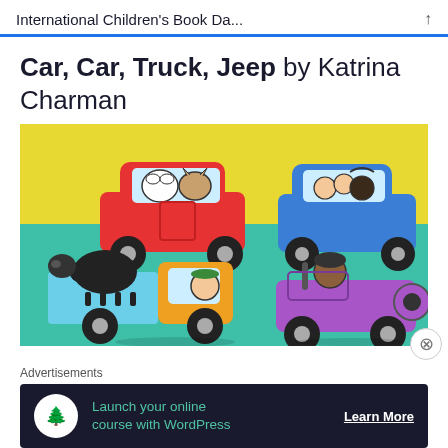International Children's Book Da...
Car, Car, Truck, Jeep by Katrina Charman
[Figure (illustration): Book cover illustration showing four cartoon vehicles: a red car with a dog and cat inside, a blue car with children and an adult, an orange/yellow truck carrying a black sheep with a driver, and a purple jeep with a dog driver. Background has yellow upper half and teal/green lower half.]
Advertisements
[Figure (screenshot): Advertisement banner with dark navy background. Circle icon with person/tree logo on left. Teal text reads 'Launch your online course with WordPress'. White underlined bold text on right reads 'Learn More'.]